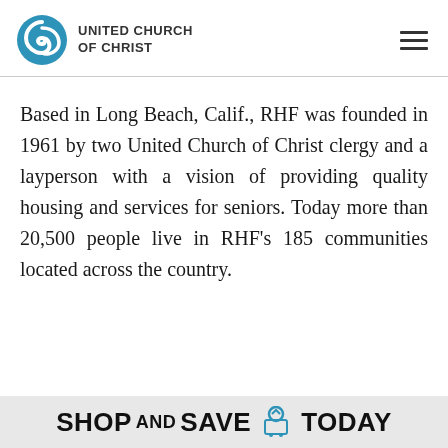UNITED CHURCH OF CHRIST
Based in Long Beach, Calif., RHF was founded in 1961 by two United Church of Christ clergy and a layperson with a vision of providing quality housing and services for seniors. Today more than 20,500 people live in RHF's 185 communities located across the country.
[Figure (illustration): Advertisement banner reading SHOP AND SAVE TODAY with a shopping cart icon]